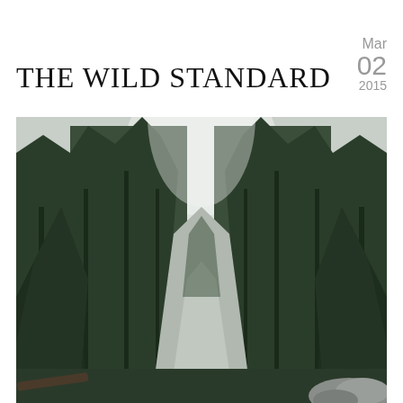THE WILD STANDARD
Mar
02
2015
[Figure (photo): A forest road flanked by tall evergreen conifer trees on both sides, with an overcast sky visible through the canopy opening in the center. The perspective shows a straight road receding into the distance, with dense dark green spruce or fir trees. A large rock is visible in the lower right foreground.]